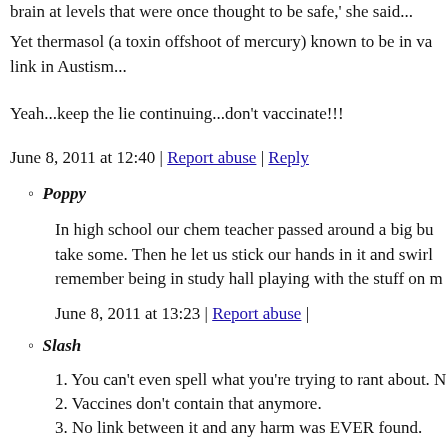brain at levels that were once thought to be safe,' she said...
Yet thermasol (a toxin offshoot of mercury) known to be in va... link in Austism...
Yeah...keep the lie continuing...don't vaccinate!!!
June 8, 2011 at 12:40 | Report abuse | Reply
Poppy
In high school our chem teacher passed around a big bu... take some. Then he let us stick our hands in it and swirl remember being in study hall playing with the stuff on n
June 8, 2011 at 13:23 | Report abuse |
Slash
1. You can't even spell what you're trying to rant about. N
2. Vaccines don't contain that anymore.
3. No link between it and any harm was EVER found.
4. It's as much mercury as table salt is a poison gas used school and learn what a chemical compound is.
5. No link between any vaccine and autism has EVER b
6. Anyone who refuses to vaccinate their children is inte harm's way for no logical reason whatsoever and does n having children.